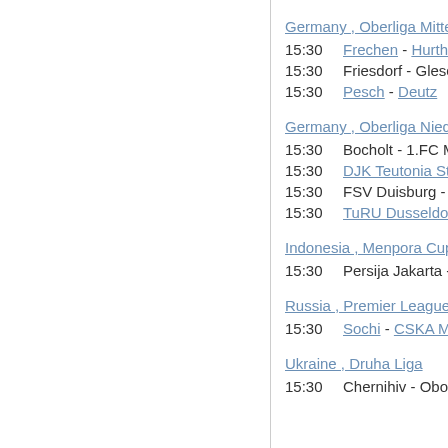Germany , Oberliga Mittelrhein
15:30   Frechen - Hurth
15:30   Friesdorf - Glesch-Paff
15:30   Pesch - Deutz
Germany , Oberliga Niederrhein
15:30   Bocholt - 1.FC Moncheng
15:30   DJK Teutonia St.Tonis - Jah
15:30   FSV Duisburg - Hild
15:30   TuRU Dusseldorf - TVD
Indonesia , Menpora Cup
15:30   Persija Jakarta - PSM M
Russia , Premier League
15:30   Sochi - CSKA Mosc
Ukraine , Druha Liga
15:30   Chernihiv - Obolon